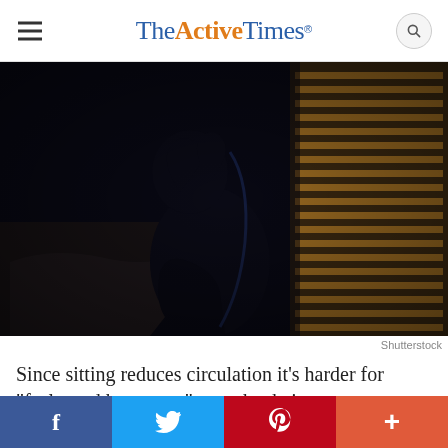The Active Times
[Figure (photo): Dark silhouette of a person sitting on a bed with their head in their hands, blinds visible in the background — a moody, dimly lit scene suggesting stress or depression.]
Shutterstock
Since sitting reduces circulation it’s harder for “feel-good hormones” to make their way to receptors. A study followed 9,000 middle-aged